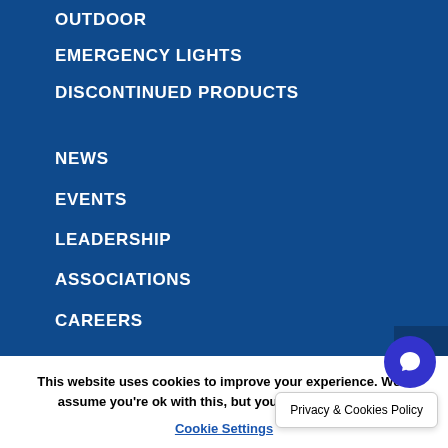OUTDOOR
EMERGENCY LIGHTS
DISCONTINUED PRODUCTS
NEWS
EVENTS
LEADERSHIP
ASSOCIATIONS
CAREERS
BUSINESS RESOURCE CENTER
SPEC SHEETS
This website uses cookies to improve your experience. We'll assume you're ok with this, but you can opt-out if you
Cookie Settings
Privacy & Cookies Policy